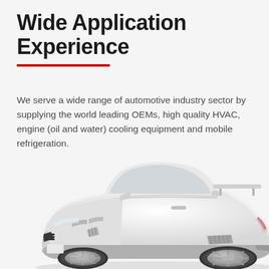Wide Application Experience
We serve a wide range of automotive industry sector by supplying the world leading OEMs, high quality HVAC, engine (oil and water) cooling equipment and mobile refrigeration.
[Figure (illustration): A white/light grey 3D rendered sports car (Nissan GT-R style) shown from a front three-quarter angle on a light background.]